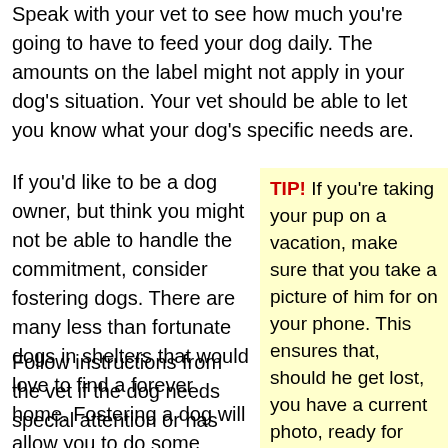Speak with your vet to see how much you're going to have to feed your dog daily. The amounts on the label might not apply in your dog's situation. Your vet should be able to let you know what your dog's specific needs are.
If you'd like to be a dog owner, but think you might not be able to handle the commitment, consider fostering dogs. There are many less than fortunate dogs in shelters that would love to find a forever home. Fostering a dog will allow you to do some charity work and see if you really want a dog!
TIP! If you're taking your pup on a vacation, make sure that you take a picture of him for on your phone. This ensures that, should he get lost, you have a current photo, ready for showing around or being used in flyers.
Follow instructions from the vet if the dog needs special attention or has